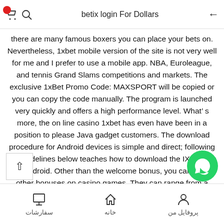betix login For Dollars
there are many famous boxers you can place your bets on. Nevertheless, 1xbet mobile version of the site is not very well for me and I prefer to use a mobile app. NBA, Euroleague, and tennis Grand Slams competitions and markets. The exclusive 1xBet Promo Code: MAXSPORT will be copied or you can copy the code manually. The program is launched very quickly and offers a high performance level. What's more, the on line casino 1xbet has even have been in a position to please Java gadget customers. The download procedure for Android devices is simple and direct; following the guidelines below teaches how to download the IXBet app for Android. Other than the welcome bonus, you can claim other bonuses on casino games. They can range from a standard 100% sign up bonus to a cash back event from a football event, such as a moneyback offer on the Champions League Final. Despite this, the 1xBet campareca
پروفایل من | خانه | سفارشات